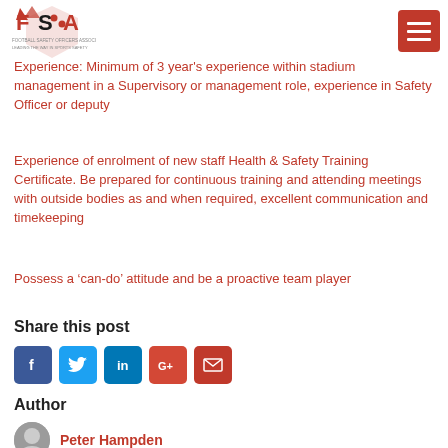FSA - Football Safety Officers Association
Experience: Minimum of 3 year's experience within stadium management in a Supervisory or management role, experience in Safety Officer or deputy
Experience of enrolment of new staff Health & Safety Training Certificate. Be prepared for continuous training and attending meetings with outside bodies as and when required, excellent communication and timekeeping
Possess a ‘can-do’ attitude and be a proactive team player
Share this post
[Figure (other): Social sharing buttons: Facebook, Twitter, LinkedIn, Google+, Email]
Author
Peter Hampden